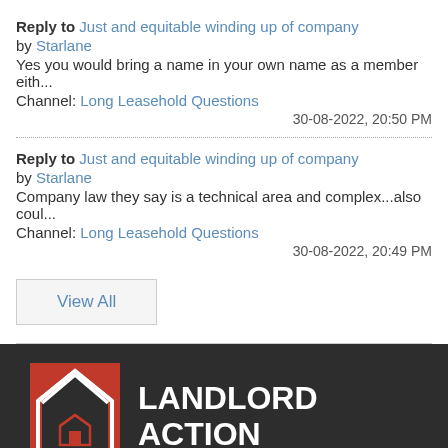Reply to Just and equitable winding up of company
by Starlane
Yes you would bring a name in your own name as a member eith...
Channel: Long Leasehold Questions
30-08-2022, 20:50 PM
Reply to Just and equitable winding up of company
by Starlane
Company law they say is a technical area and complex...also coul...
Channel: Long Leasehold Questions
30-08-2022, 20:49 PM
View All
[Figure (logo): Landlord Action logo on dark background - red house icon with white outline on left, white bold text 'LANDLORD ACTION' on right]